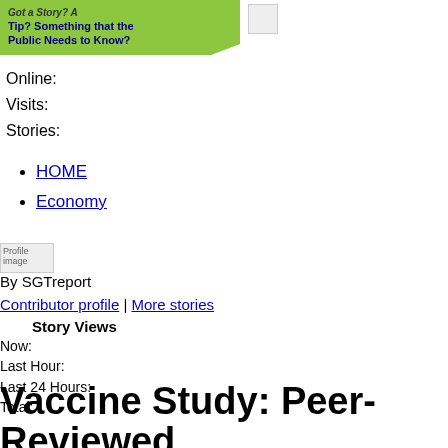[Figure (illustration): Green speech bubble banner with text 'Tip? Something that the Public Needs to Know?' and a small broken image icon to the right]
Online:
Visits:
Stories:
HOME
Economy
[Figure (photo): Profile image placeholder (broken image)]
By SGTreport
Contributor profile | More stories
Story Views
Now:
Last Hour:
Last 24 Hours:
Total:
Vaccine Study: Peer-Reviewed Study Shows Vaccinated